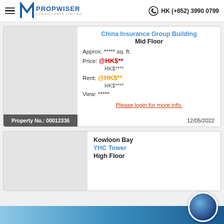Propwiser Consultants Limited | HK (+852) 3990 0799
China Insurance Group Building
Mid Floor
Approx. ***** sq. ft.
Price: @HK$**
HK$****
Rent: @HK$**
HK$****
View: *****
Please login for more info.
Property No.: 00012336
12/05/2022
Kowloon Bay
YHC Tower
High Floor